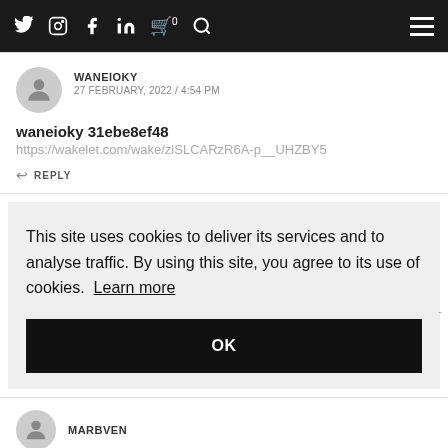Navigation bar with social icons and menu
WANEIOKY
27 FEBRUARY, 2022 / 4:54 PM
waneioky 31ebe8ef48
https://wakelet.com/wake/zlSLCARzR6A-p__UHZBY5
REPLY
This site uses cookies to deliver its services and to analyse traffic. By using this site, you agree to its use of cookies. Learn more
OK
MARBVEN